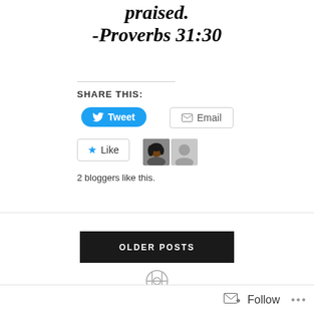praised. -Proverbs 31:30
SHARE THIS:
Tweet
Email
Like
2 bloggers like this.
OLDER POSTS
Follow